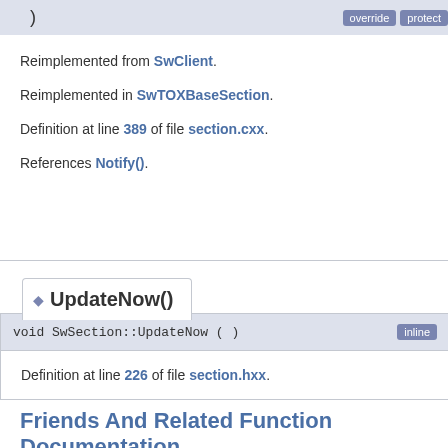)
override protected
Reimplemented from SwClient.
Reimplemented in SwTOXBaseSection.
Definition at line 389 of file section.cxx.
References Notify().
UpdateNow()
void SwSection::UpdateNow ( )
inline
Definition at line 226 of file section.hxx.
Friends And Related Function Documentation